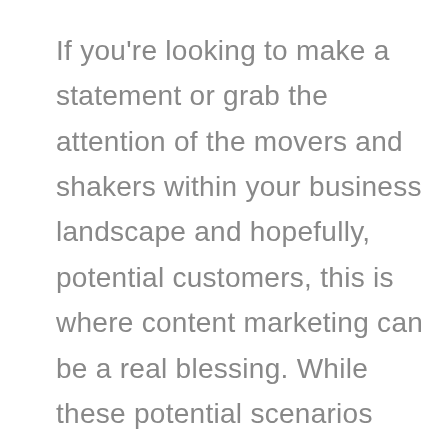If you're looking to make a statement or grab the attention of the movers and shakers within your business landscape and hopefully, potential customers, this is where content marketing can be a real blessing. While these potential scenarios might seem like challenges or hurdles, they're challenges and obstacles that a good content marketing strategy can help you